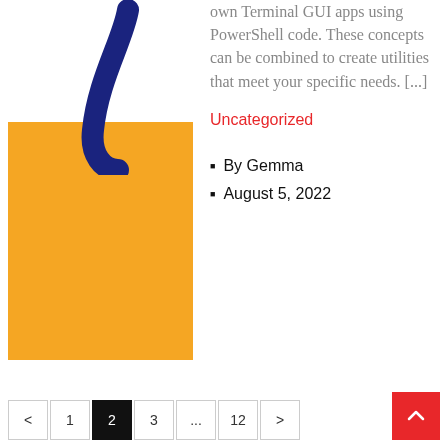[Figure (illustration): Decorative blog post thumbnail with navy swoosh graphic on white background over an orange/yellow rectangle]
own Terminal GUI apps using PowerShell code. These concepts can be combined to create utilities that meet your specific needs. [...]
Uncategorized
By Gemma
August 5, 2022
< 1 2 3 ... 12 >